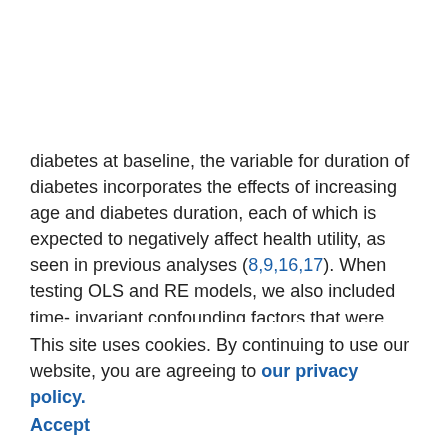diabetes at baseline, the variable for duration of diabetes incorporates the effects of increasing age and diabetes duration, each of which is expected to negatively affect health utility, as seen in previous analyses (8,9,16,17). When testing OLS and RE models, we also included time-invariant confounding factors that were observed, such as age at diagnosis of diabetes, sex, race/ethnicity, and education level (some college or higher); in the FE model, these variables are incorporated into each individual's fixed effect. In the OLS model we allowed for the clustering of error terms by study participant.
This site uses cookies. By continuing to use our website, you are agreeing to our privacy policy. Accept